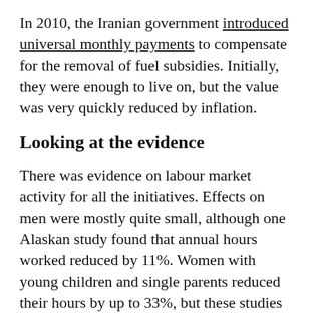In 2010, the Iranian government introduced universal monthly payments to compensate for the removal of fuel subsidies. Initially, they were enough to live on, but the value was very quickly reduced by inflation.
Looking at the evidence
There was evidence on labour market activity for all the initiatives. Effects on men were mostly quite small, although one Alaskan study found that annual hours worked reduced by 11%. Women with young children and single parents reduced their hours by up to 33%, but these studies were in countries with no maternity pay. Women and self-employed men in Iran increased the amount they worked. Participants in Canadian studies reported that flexibility, security and being able to work alongside health issues, education, or caring